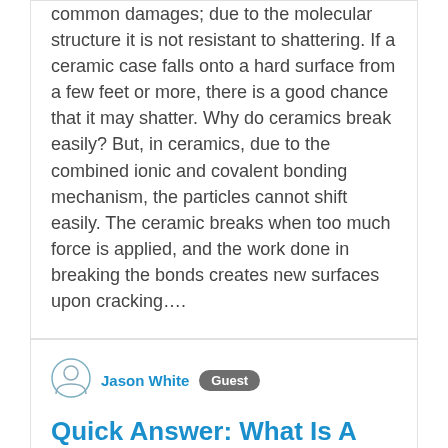common damages; due to the molecular structure it is not resistant to shattering. If a ceramic case falls onto a hard surface from a few feet or more, there is a good chance that it may shatter. Why do ceramics break easily? But, in ceramics, due to the combined ionic and covalent bonding mechanism, the particles cannot shift easily. The ceramic breaks when too much force is applied, and the work done in breaking the bonds creates new surfaces upon cracking….
[Figure (other): Circular user avatar icon with person silhouette outline in blue/grey]
Jason White  Guest
Quick Answer: What Is A Rolex Hulk?
Rolex Hulk Nickname Origin: Introduced in 2010 to commemorate the 60th anniversary